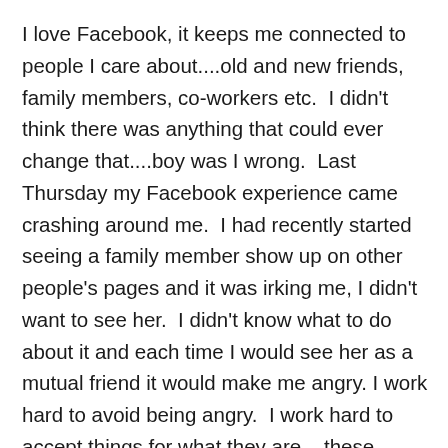I love Facebook, it keeps me connected to people I care about....old and new friends, family members, co-workers etc.  I didn't think there was anything that could ever change that....boy was I wrong.  Last Thursday my Facebook experience came crashing around me.  I had recently started seeing a family member show up on other people's pages and it was irking me, I didn't want to see her.  I didn't know what to do about it and each time I would see her as a mutual friend it would make me angry.  I work hard to avoid being angry.  I work hard to accept things for what they are....these feelings were making me think about not participating in Facebook.  I then found out that my sister and I had a mutual friend and possibly more coming, my heart hurt.  My sister is not part of my life, took lots of counseling to accept that and now poof there she is